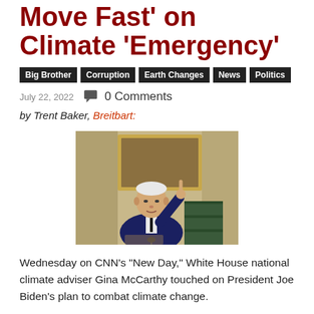Move Fast' on Climate 'Emergency'
Big Brother
Corruption
Earth Changes
News
Politics
July 22, 2022   0 Comments
by Trent Baker, Breitbart:
[Figure (photo): President Joe Biden pointing with one finger, wearing a dark suit, standing in front of a framed painting in what appears to be a White House room]
Wednesday on CNN’s “New Day,” White House national climate adviser Gina McCarthy touched on President Joe Biden’s plan to combat climate change.
McCarthy said Biden was “going to make it clear that